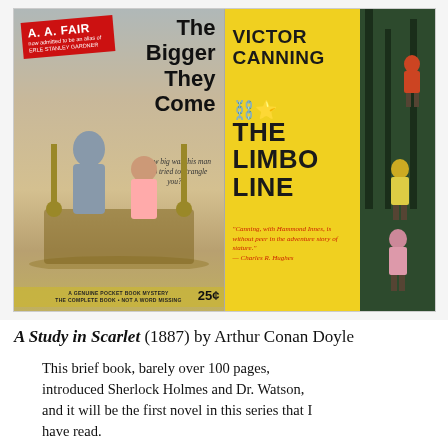[Figure (illustration): Two vintage paperback book covers side by side. Left: 'The Bigger They Come' by A. A. Fair (also noted as an alias of Erle Stanley Gardner), a Pocket Book mystery priced at 25 cents, showing a man and woman figure near a brass bed. Right: 'The Limbo Line' by Victor Canning, a yellow-covered paperback priced at 50 cents, showing children being led by a figure with a dark forest background, with a quote about Canning.]
A Study in Scarlet (1887) by Arthur Conan Doyle
This brief book, barely over 100 pages, introduced Sherlock Holmes and Dr. Watson, and it will be the first novel in this series that I have read.